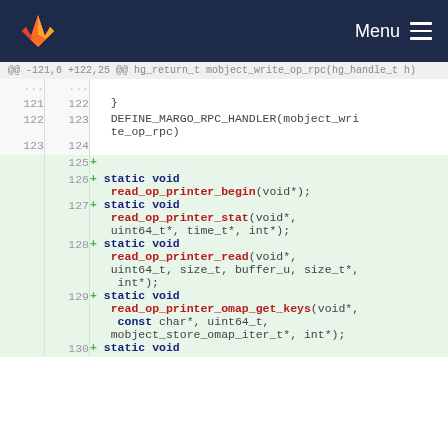Menu
[Figure (screenshot): GitLab code diff view showing additions of static void function declarations: read_op_printer_begin, read_op_printer_stat, read_op_printer_read, and read_op_printer_omap_get_keys, with line numbers 121-129 visible.]